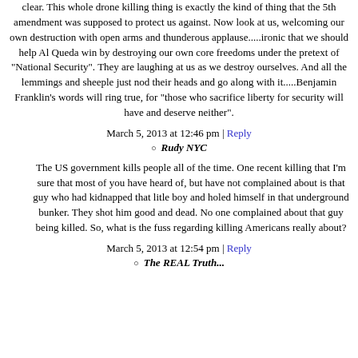clear. This whole drone killing thing is exactly the kind of thing that the 5th amendment was supposed to protect us against. Now look at us, welcoming our own destruction with open arms and thunderous applause.....ironic that we should help Al Queda win by destroying our own core freedoms under the pretext of "National Security". They are laughing at us as we destroy ourselves. And all the lemmings and sheeple just nod their heads and go along with it.....Benjamin Franklin's words will ring true, for "those who sacrifice liberty for security will have and deserve neither".
March 5, 2013 at 12:46 pm | Reply
Rudy NYC
The US government kills people all of the time. One recent killing that I'm sure that most of you have heard of, but have not complained about is that guy who had kidnapped that litle boy and holed himself in that underground bunker. They shot him good and dead. No one complained about that guy being killed. So, what is the fuss regarding killing Americans really about?
March 5, 2013 at 12:54 pm | Reply
The REAL Truth...